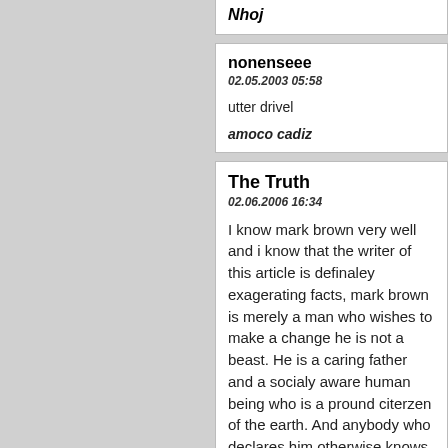Nhoj
nonenseee
02.05.2003 05:58
utter drivel
amoco cadiz
The Truth
02.06.2006 16:34
I know mark brown very well and i know that the writer of this article is definaley exagerating facts, mark brown is merely a man who wishes to make a change he is not a beast. He is a caring father and a socialy aware human being who is a pround citerzen of the earth. And anybody who declares him otherwise knows very little! and would the writer in future however much he is being paid care not to pass judgement before